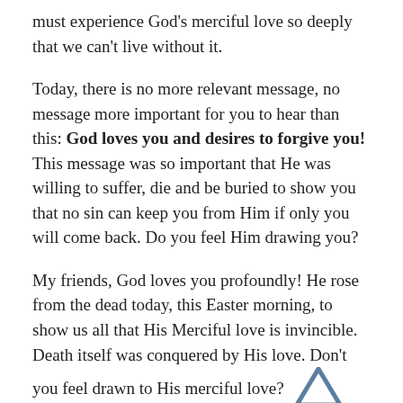must experience God's merciful love so deeply that we can't live without it.
Today, there is no more relevant message, no message more important for you to hear than this: God loves you and desires to forgive you! This message was so important that He was willing to suffer, die and be buried to show you that no sin can keep you from Him if only you will come back. Do you feel Him drawing you?
My friends, God loves you profoundly! He rose from the dead today, this Easter morning, to show us all that His Merciful love is invincible. Death itself was conquered by His love. Don't you feel drawn to His merciful love?
Yes, my friends, Jesus is Risen! He suffered, died and rose to show us that He is not only